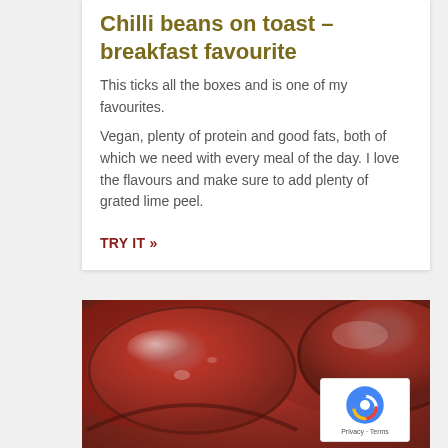Chilli beans on toast – breakfast favourite
This ticks all the boxes and is one of my favourites.
Vegan, plenty of protein and good fats, both of which we need with every meal of the day. I love the flavours and make sure to add plenty of grated lime peel.
TRY IT »
[Figure (photo): Close-up photo of chilli beans in glass bowls, showing glossy red bean mixture with visible pieces of toast underneath, shot from above at an angle.]